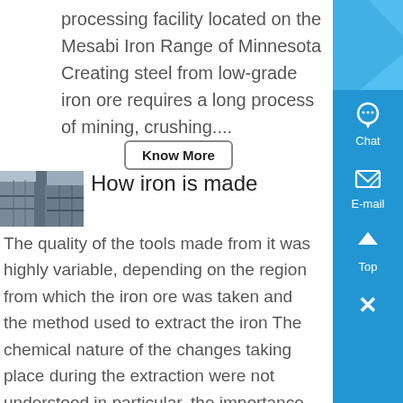processing facility located on the Mesabi Iron Range of Minnesota Creating steel from low-grade iron ore requires a long process of mining, crushing....
Know More
[Figure (photo): Industrial steel structure or conveyor system, gray metallic components]
How iron is made
The quality of the tools made from it was highly variable, depending on the region from which the iron ore was taken and the method used to extract the iron The chemical nature of the changes taking place during the extraction were not understood in particular, the importance of carbon to the metal s hardness...